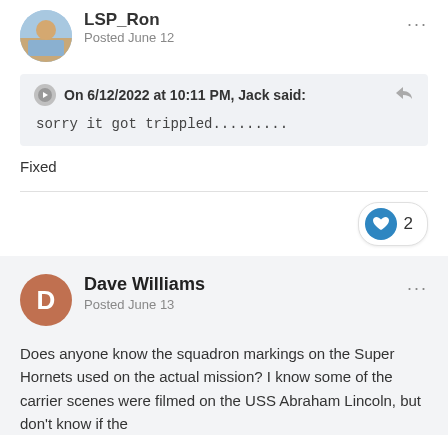LSP_Ron
Posted June 12
On 6/12/2022 at 10:11 PM, Jack said:
sorry it got trippled.........
Fixed
2
Dave Williams
Posted June 13
Does anyone know the squadron markings on the Super Hornets used on the actual mission?  I know some of the carrier scenes were filmed on the USS Abraham Lincoln, but don't know if the